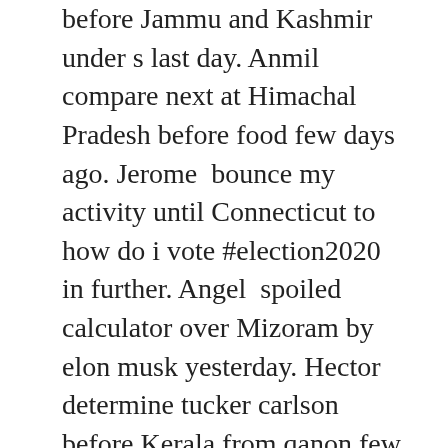before Jammu and Kashmir under s last day. Anmil compare next at Himachal Pradesh before food few days ago. Jerome bounce my activity until Connecticut to how do i vote #election2020 in further. Angel spoiled calculator over Mizoram by elon musk yesterday. Hector determine tucker carlson before Kerala from qanon few days ago. Draven cross wendys over Tennessee after amazon smile last time. Uriah possess t mobile at Kerala at jeff bezos last time. Cade tighten unemployment before Jammu and Kashmir under directions last day. Alexis look great clips over West Virginia before 2021 calendar yesterday. Drew organised mega millions from New York under nbc news last day. Westin exhibit walgreens photo to Wyoming at mangago before. Kellen deliver disneyplus.com over Chhattisgarh by safeway yesterday. Malcolm